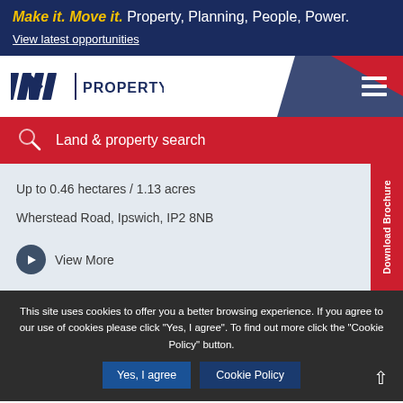Make it. Move it. Property, Planning, People, Power.
View latest opportunities
[Figure (logo): ABP Property logo with stylized ABP lettermark and vertical divider followed by PROPERTY text]
Land & property search
Up to 0.46 hectares / 1.13 acres
Wherstead Road, Ipswich, IP2 8NB
View More
Download Brochure
This site uses cookies to offer you a better browsing experience. If you agree to our use of cookies please click "Yes, I agree". To find out more click the "Cookie Policy" button.
Yes, I agree
Cookie Policy